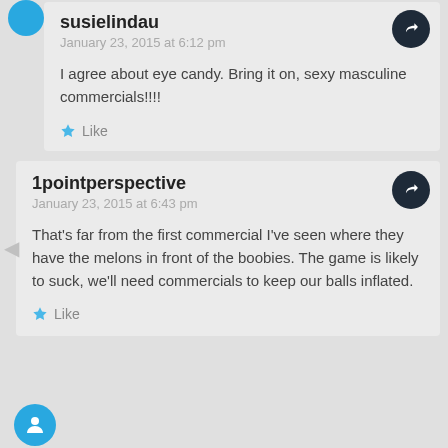susielindau
January 23, 2015 at 6:12 pm
I agree about eye candy. Bring it on, sexy masculine commercials!!!!
Like
1pointperspective
January 23, 2015 at 6:43 pm
That's far from the first commercial I've seen where they have the melons in front of the boobies. The game is likely to suck, we'll need commercials to keep our balls inflated.
Like